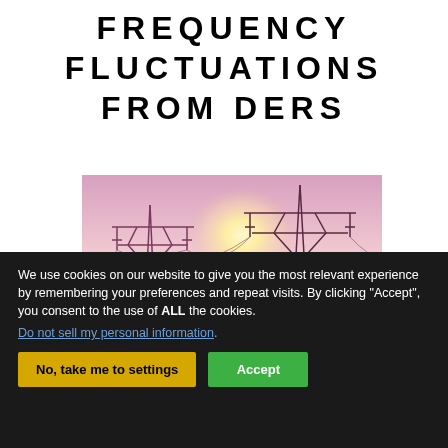FREQUENCY FLUCTUATIONS FROM DERS
[Figure (photo): Two high-voltage electrical transmission towers (pylons) silhouetted against a bright pink and purple sunset sky with sunlight glowing behind them and trees visible at the bottom.]
We use cookies on our website to give you the most relevant experience by remembering your preferences and repeat visits. By clicking “Accept”, you consent to the use of ALL the cookies.
Do not sell my personal information.
No, take me to settings  Accept